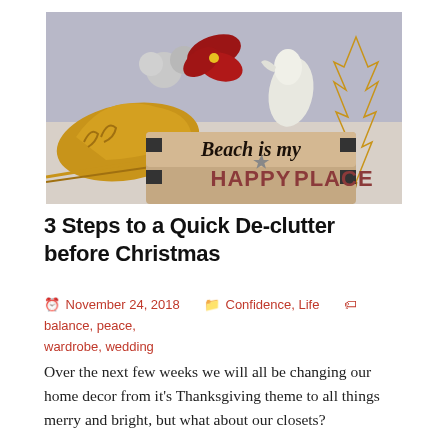[Figure (photo): Christmas decoration photo featuring a gold metallic sleigh, ornaments, poinsettias, a figurine, and a wire gold tree, with a wooden sign reading 'Beach is my HAPPY PLACE']
3 Steps to a Quick De-clutter before Christmas
November 24, 2018   Confidence, Life   balance, peace, wardrobe, wedding
Over the next few weeks we will all be changing our home decor from it's Thanksgiving theme to all things merry and bright, but what about our closets?